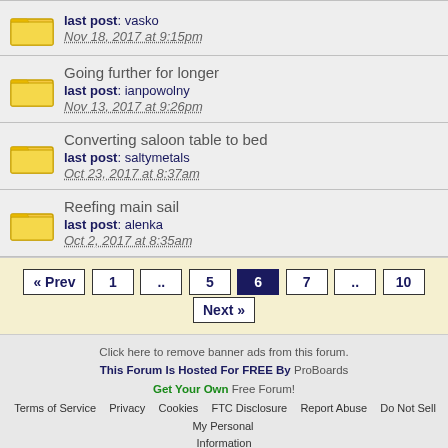last post: vasko
Nov 18, 2017 at 9:15pm
Going further for longer
last post: ianpowolny
Nov 13, 2017 at 9:26pm
Converting saloon table to bed
last post: saltymetals
Oct 23, 2017 at 8:37am
Reefing main sail
last post: alenka
Oct 2, 2017 at 8:35am
« Prev 1 .. 5 6 7 .. 10 Next »
Click here to remove banner ads from this forum.
This Forum Is Hosted For FREE By ProBoards
Get Your Own Free Forum!
Terms of Service | Privacy | Cookies | FTC Disclosure | Report Abuse | Do Not Sell My Personal Information
◄ Back ▲ Top Desktop